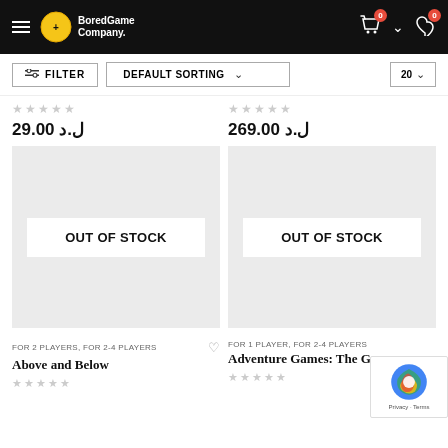BoredGame Company — header with filter bar
★★★★★ د.إ 29.00 | ★★★★★ د.إ 269.00
[Figure (screenshot): Out of Stock product card for 'Above and Below']
[Figure (screenshot): Out of Stock product card for 'Adventure Games: The G...']
FOR 2 PLAYERS, FOR 2-4 PLAYERS — Above and Below
FOR 1 PLAYER, FOR 2-4 PLAYERS — Adventure Games: The G...